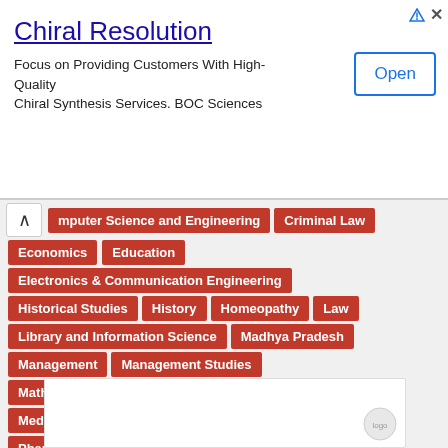[Figure (other): Advertisement banner for Chiral Resolution - BOC Sciences. Title: Chiral Resolution. Subtitle: Focus on Providing Customers With High-Quality Chiral Synthesis Services. BOC Sciences. With an Open button on the right.]
Computer Science and Engineering
Criminal Law
Economics
Education
Electronics & Communication Engineering
Historical Studies
History
Homeopathy
Law
Library and Information Science
Madhya Pradesh
Management
Management Studies
Mathematics
Mechanical Engineering
Medical Lab Technology
Medical Surgical
Pharmaceutical Chemistry
Pharmacology
Physics
Private Jobs
Teaching Jobs
Zoology
[Figure (other): Bottom advertisement box with a logo in the bottom right corner]